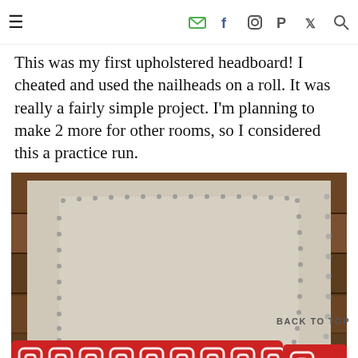≡  ✉ f ⊡ P 𝕏 🔍
This was my first upholstered headboard! I cheated and used the nailheads on a roll. It was really a fairly simple project. I'm planning to make 2 more for other rooms, so I considered this a practice run.
[Figure (photo): Close-up photo of an upholstered headboard in beige/linen fabric with silver nailhead trim arranged in a decorative pattern along the edges. Red patterned pillows with a white geometric chain-link design are leaning against the headboard. The background shows a rustic wood wall.]
BACK TO TOP